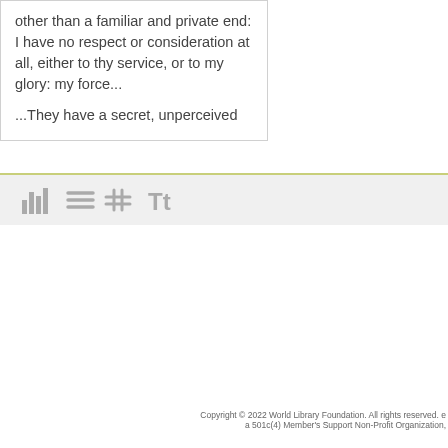other than a familiar and private end: I have no respect or consideration at all, either to thy service, or to my glory: my force...
...They have a secret, unperceived
[Figure (other): Toolbar with four icons: bar chart icon, lines/list icon, grid/hash icon, and Tt text icon]
Copyright © 2022 World Library Foundation. All rights reserved. e a 501c(4) Member's Support Non-Profit Organization,